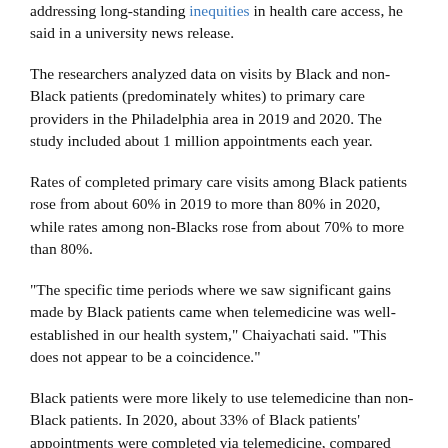addressing long-standing inequities in health care access, he said in a university news release.
The researchers analyzed data on visits by Black and non-Black patients (predominately whites) to primary care providers in the Philadelphia area in 2019 and 2020. The study included about 1 million appointments each year.
Rates of completed primary care visits among Black patients rose from about 60% in 2019 to more than 80% in 2020, while rates among non-Blacks rose from about 70% to more than 80%.
"The specific time periods where we saw significant gains made by Black patients came when telemedicine was well-established in our health system," Chaiyachati said. "This does not appear to be a coincidence."
Black patients were more likely to use telemedicine than non-Black patients. In 2020, about 33% of Black patients' appointments were completed via telemedicine, compared with 25% for non-Black patients, according to the findings.
The study was published recently in the journal